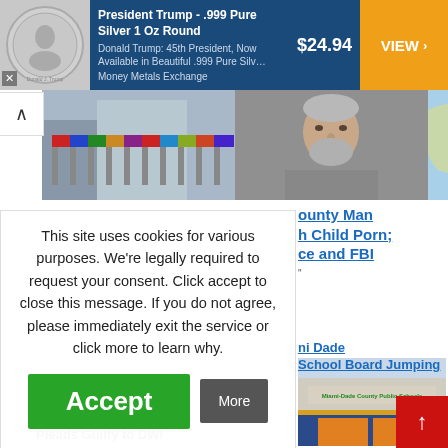[Figure (screenshot): Advertisement banner: President Trump .999 Pure Silver 1 Oz Round, $24.94, VIEW button, Money Metals Exchange]
[Figure (photo): Row of international flags outside a building]
[Figure (photo): Mugshot-style photo of an older white man with gray beard]
[Figure (map): Map showing geographic region with red markers]
ounty Man h Child Porn; ce and FBI
This site uses cookies for various purposes. We're legally required to request your consent. Click accept to close this message. If you do not agree, please immediately exit the service or click more to learn why.
Accept
More
[Figure (photo): Miami-Dade County Public Schools building exterior]
ni Dade School Board Jumping
Pleads Guilty to DWI